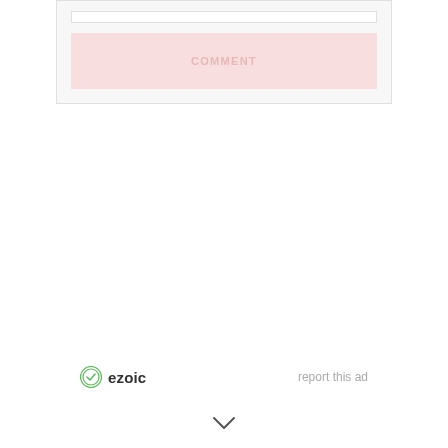[Figure (screenshot): A light gray form container with a white input bar at the top and a pink/rose colored button labeled COMMENT in uppercase letters with letter spacing.]
COMMENT
[Figure (logo): Ezoic logo with green circular icon and 'ezoic' wordmark in dark gray]
report this ad